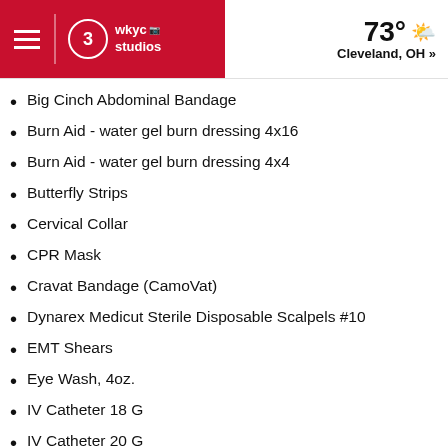WKYC Studios | 73° Cleveland, OH »
Big Cinch Abdominal Bandage
Burn Aid - water gel burn dressing 4x16
Burn Aid - water gel burn dressing 4x4
Butterfly Strips
Cervical Collar
CPR Mask
Cravat Bandage (CamoVat)
Dynarex Medicut Sterile Disposable Scalpels #10
EMT Shears
Eye Wash, 4oz.
IV Catheter 18 G
IV Catheter 20 G
IV Catheter 22 G
IV Starter Kits
Medical Adhesive tape rolls (2 - 3" inches)
Multi Trauma Dressings, 12"x30"
Pain Relievers - Ibuprofen or Acetaminophen, or both
Pair of Tweezers